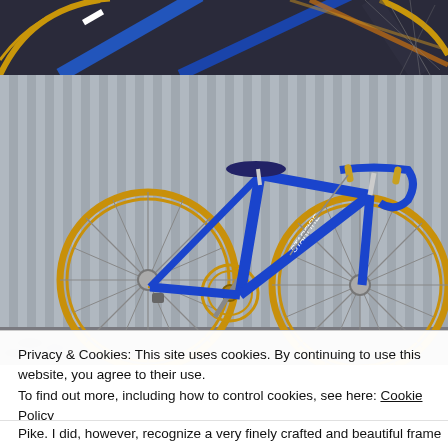[Figure (photo): Close-up photo of the top portion of a blue vintage road bicycle with orange/tan wheel rims, showing handlebars and frame detail against a dark background]
[Figure (photo): Full side view of a blue vintage road bicycle (Starfire) leaning against a corrugated metal wall/fence, showing orange/tan tires, drop handlebars with gold brake levers, and detailed chainset]
Privacy & Cookies: This site uses cookies. By continuing to use this website, you agree to their use.
To find out more, including how to control cookies, see here: Cookie Policy
Close and accept
Pike. I did, however, recognize a very finely crafted and beautiful frame